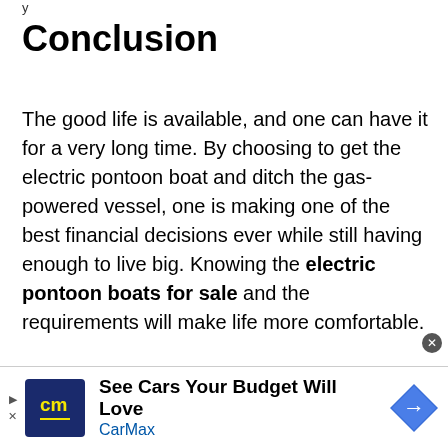y
Conclusion
The good life is available, and one can have it for a very long time. By choosing to get the electric pontoon boat and ditch the gas-powered vessel, one is making one of the best financial decisions ever while still having enough to live big. Knowing the electric pontoon boats for sale and the requirements will make life more comfortable.
[Figure (other): CarMax advertisement banner: See Cars Your Budget Will Love, CarMax branding with logo and navigation icon]